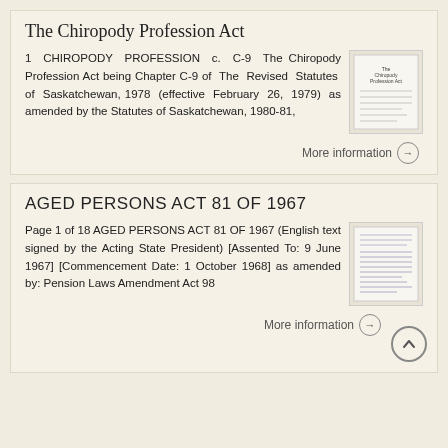The Chiropody Profession Act
1 CHIROPODY PROFESSION c. C-9 The Chiropody Profession Act being Chapter C-9 of The Revised Statutes of Saskatchewan, 1978 (effective February 26, 1979) as amended by the Statutes of Saskatchewan, 1980-81,
More information →
AGED PERSONS ACT 81 OF 1967
Page 1 of 18 AGED PERSONS ACT 81 OF 1967 (English text signed by the Acting State President) [Assented To: 9 June 1967] [Commencement Date: 1 October 1968] as amended by: Pension Laws Amendment Act 98
More information →